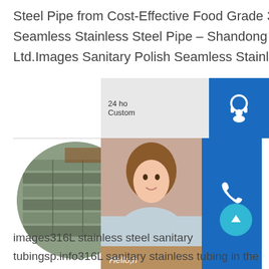Steel Pipe from Cost-Effective Food Grade 304 304L 316 316L 310S 321 Seamless Stainless Steel Pipe - Shandong Puxin Stainless Steel Co., Ltd.Images Sanitary Polish Seamless Stainless Steel P
[Figure (photo): Circular-cropped photo showing stacked metal/steel slabs or blocks stored in an industrial facility]
[Figure (screenshot): Right-side UI overlay with customer service widgets: headset icon on blue background with '24 ho Customer' text; phone icon on blue background with portrait of woman; Skype icon on blue background with 'Hello, h hel' text and orange 'Chat Now' button]
images316L stainless steel sanitary tubingsp.info316L sanitary stainless tubing in the